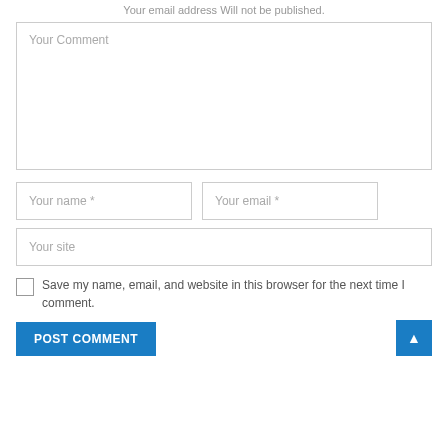Your email address Will not be published.
Your Comment
Your name *
Your email *
Your site
Save my name, email, and website in this browser for the next time I comment.
POST COMMENT